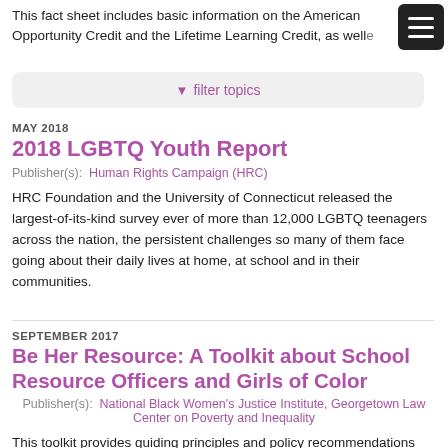This fact sheet includes basic information on the American Opportunity Credit and the Lifetime Learning Credit, as well as
filter topics
MAY 2018
2018 LGBTQ Youth Report
Publisher(s): Human Rights Campaign (HRC)
HRC Foundation and the University of Connecticut released the largest-of-its-kind survey ever of more than 12,000 LGBTQ teenagers across the nation, the persistent challenges so many of them face going about their daily lives at home, at school and in their communities.
SEPTEMBER 2017
Be Her Resource: A Toolkit about School Resource Officers and Girls of Color
Publisher(s): National Black Women's Justice Institute, Georgetown Law Center on Poverty and Inequality
This toolkit provides guiding principles and policy recommendations that are designed to improve interactions